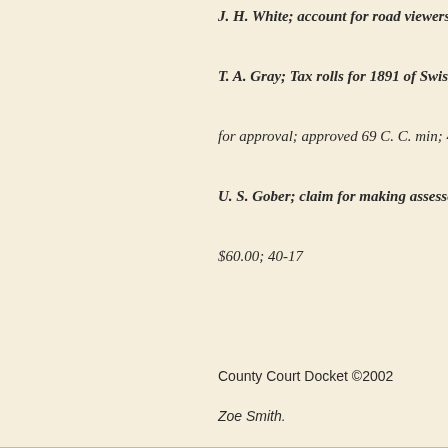J. H. White; account for road viewers; allowed $15.25
T. A. Gray; Tax rolls for 1891 of Swisher county prese
for approval; approved 69 C. C. min; 40-6
U. S. Gober; claim for making assessors abst for Sw
$60.00; 40-17
County Court Docket ©2002
Zoe Smith.